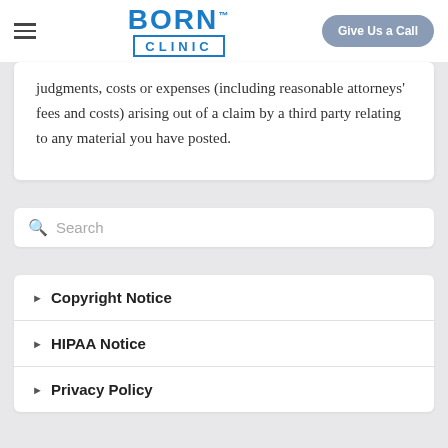BORN CLINIC — Give Us a Call
judgments, costs or expenses (including reasonable attorneys' fees and costs) arising out of a claim by a third party relating to any material you have posted.
Search
Copyright Notice
HIPAA Notice
Privacy Policy